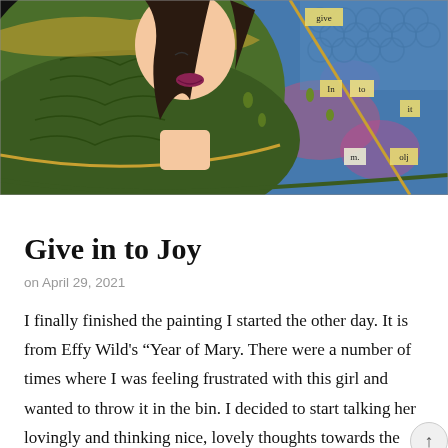[Figure (illustration): Colorful mixed media artwork showing a woman with dark hair wearing a large green hat decorated with leaf patterns, painted in comic-style. The background is blue and purple with pink splatters. On the right side there are small labels/signs on a stick reading 'give', 'in', 'to', 'it', 'm.', 'olj'. Gold accents outline the hat.]
Give in to Joy
on April 29, 2021
I finally finished the painting I started the other day. It is from Effy Wild's “Year of Mary. There were a number of times where I was feeling frustrated with this girl and wanted to throw it in the bin. I decided to start talking her lovingly and thinking nice, lovely thoughts towards the